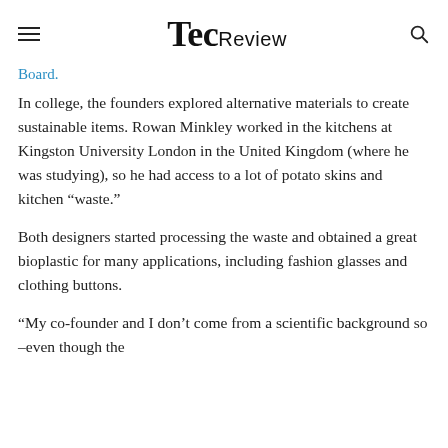TecReview
Board.
In college, the founders explored alternative materials to create sustainable items. Rowan Minkley worked in the kitchens at Kingston University London in the United Kingdom (where he was studying), so he had access to a lot of potato skins and kitchen “waste.”
Both designers started processing the waste and obtained a great bioplastic for many applications, including fashion glasses and clothing buttons.
“My co-founder and I don’t come from a scientific background so –even though the